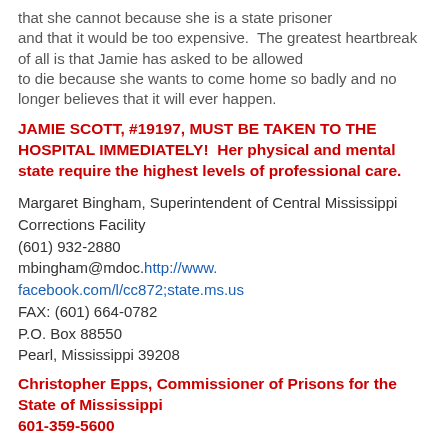that she cannot because she is a state prisoner and that it would be too expensive.  The greatest heartbreak of all is that Jamie has asked to be allowed to die because she wants to come home so badly and no longer believes that it will ever happen.
JAMIE SCOTT, #19197, MUST BE TAKEN TO THE HOSPITAL IMMEDIATELY!  Her physical and mental state require the highest levels of professional care.
Margaret Bingham, Superintendent of Central Mississippi Corrections Facility
(601) 932-2880
mbingham@mdoc.http://www.facebook.com/l/cc872;state.ms.us
FAX: (601) 664-0782
P.O. Box 88550
Pearl, Mississippi 39208
Christopher Epps, Commissioner of Prisons for the State of Mississippi
601-359-5600